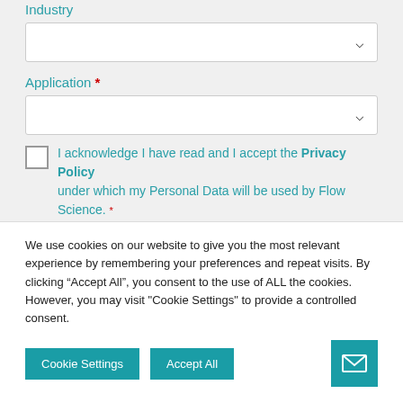Industry
Application *
I acknowledge I have read and I accept the Privacy Policy under which my Personal Data will be used by Flow Science. *
[Figure (other): reCAPTCHA widget with checkbox labeled I'm not a robot]
We use cookies on our website to give you the most relevant experience by remembering your preferences and repeat visits. By clicking “Accept All”, you consent to the use of ALL the cookies. However, you may visit "Cookie Settings" to provide a controlled consent.
Cookie Settings
Accept All